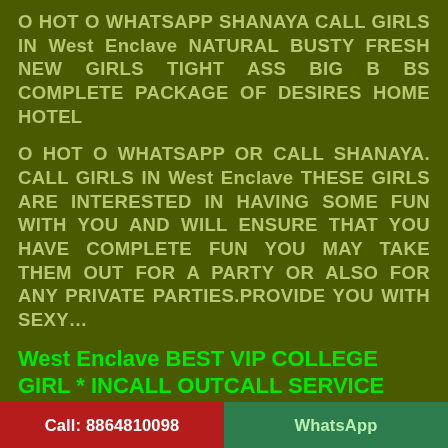O HOT O WHATSAPP SHANAYA CALL GIRLS IN West Enclave NATURAL BUSTY FRESH NEW GIRLS TIGHT ASS BIG B BS COMPLETE PACKAGE OF DESIRES HOME HOTEL
O HOT O WHATSAPP OR CALL SHANAYA. CALL GIRLS IN West Enclave THESE GIRLS ARE INTERESTED IN HAVING SOME FUN WITH YOU AND WILL ENSURE THAT YOU HAVE COMPLETE FUN YOU MAY TAKE THEM OUT FOR A PARTY OR ALSO FOR ANY PRIVATE PARTIES.PROVIDE YOU WITH SEXY…
West Enclave BEST VIP COLLEGE GIRL * INCALL OUTCALL SERVICE LOW RATE
* hours Call me B k Now Every Time Available College girls ,High Profile VIP Educated Girls Our Available IN All OVER AREA SERVICE, AND STAR HOTEL , IN AND OUT call SERVICES . hrs CALL * Models * Receptionist * Air Hostess * Call
Call: 8864810098    WhatsApp